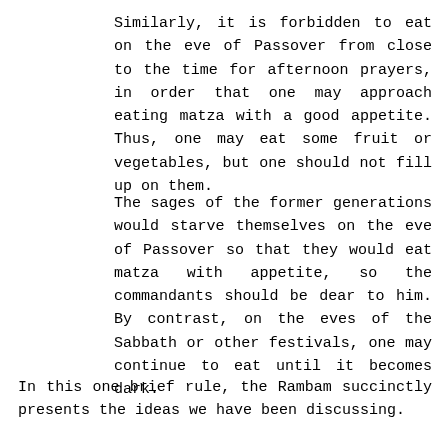Similarly, it is forbidden to eat on the eve of Passover from close to the time for afternoon prayers, in order that one may approach eating matza with a good appetite. Thus, one may eat some fruit or vegetables, but one should not fill up on them.
The sages of the former generations would starve themselves on the eve of Passover so that they would eat matza with appetite, so the commandants should be dear to him. By contrast, on the eves of the Sabbath or other festivals, one may continue to eat until it becomes dark.
In this one brief rule, the Rambam succinctly presents the ideas we have been discussing.